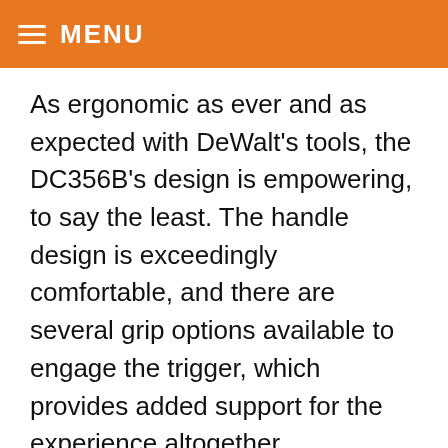MENU
As ergonomic as ever and as expected with DeWalt's tools, the DC356B's design is empowering, to say the least. The handle design is exceedingly comfortable, and there are several grip options available to engage the trigger, which provides added support for the experience altogether.
On top of that, the tool's overall build also supports seamless operations, including its